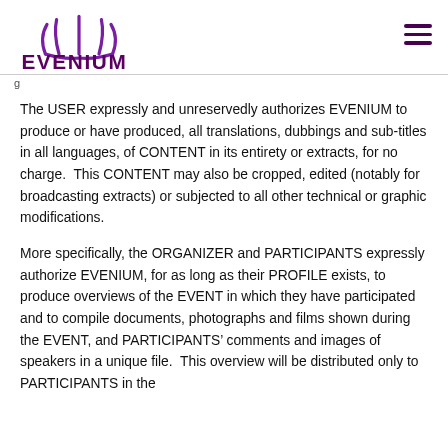EVENIUM
g...
The USER expressly and unreservedly authorizes EVENIUM to produce or have produced, all translations, dubbings and sub-titles in all languages, of CONTENT in its entirety or extracts, for no charge.  This CONTENT may also be cropped, edited (notably for broadcasting extracts) or subjected to all other technical or graphic modifications.
More specifically, the ORGANIZER and PARTICIPANTS expressly authorize EVENIUM, for as long as their PROFILE exists, to produce overviews of the EVENT in which they have participated and to compile documents, photographs and films shown during the EVENT, and PARTICIPANTS' comments and images of speakers in a unique file.  This overview will be distributed only to PARTICIPANTS in the